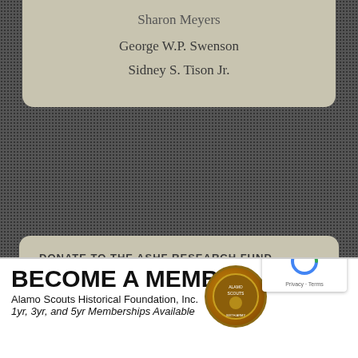Sharon Meyers
George W.P. Swenson
Sidney S. Tison Jr.
DONATE TO THE ASHF RESEARCH FUND
[Figure (other): PayPal Donate button with credit card logos (Visa, Mastercard, Maestro, American Express, Discover, JCB)]
[Figure (infographic): Become a Member banner for Alamo Scouts Historical Foundation, Inc. — 1yr, 3yr, and 5yr Memberships Available, with circular badge logo]